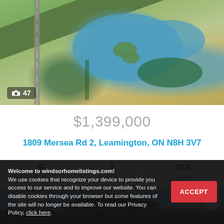[Figure (photo): Aerial drone photo of farmland and pond near Leamington, Ontario, showing agricultural fields, water body with vegetation islands, and tree lines]
📷 47
$1,399,000
1809 Mersea Rd 2, Leamington, ON N8H 3V7
4 Beds
1 Bath
n/a SqFt
[Figure (photo): Exterior photo of a luxury stone house with dark windows and blue sky]
Welcome to windsorhomelistings.com!
We use cookies that recognize your device to provide you access to our service and to improve our website. You can disable cookies through your browser but some features of the site will no longer be available. To read our Privacy Policy, click here.